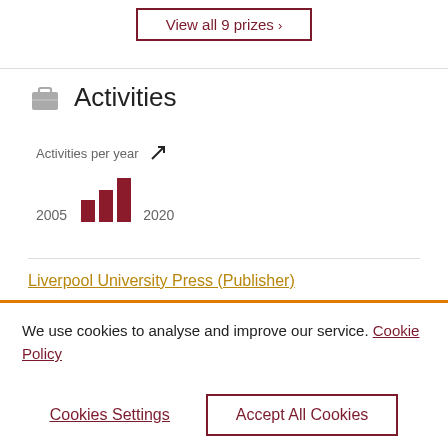View all 9 prizes >
Activities
[Figure (bar-chart): Activities per year]
Liverpool University Press (Publisher)
We use cookies to analyse and improve our service. Cookie Policy
Cookies Settings
Accept All Cookies